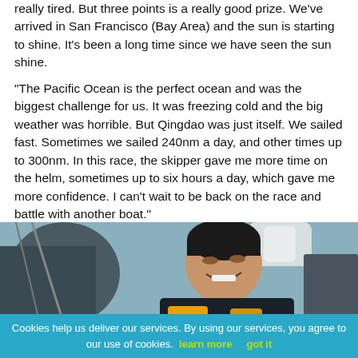really tired. But three points is a really good prize. We've arrived in San Francisco (Bay Area) and the sun is starting to shine. It's been a long time since we have seen the sun shine.
"The Pacific Ocean is the perfect ocean and was the biggest challenge for us. It was freezing cold and the big weather was horrible. But Qingdao was just itself. We sailed fast. Sometimes we sailed 240nm a day, and other times up to 300nm. In this race, the skipper gave me more time on the helm, sometimes up to six hours a day, which gave me more confidence. I can't wait to be back on the race and battle with another boat."
[Figure (photo): A smiling Asian man in sailing gear (dark jacket, yellow life vest) looking upward, outdoors near sailing equipment, overcast sky background.]
Cookies help us deliver our services. By using our services, you agree to our use of cookies. learn more   got it